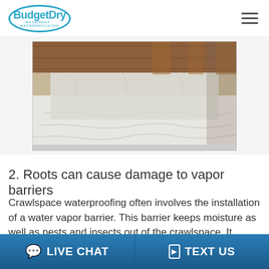BudgetDry Basement Waterproofing
[Figure (photo): Interior view of a crawlspace with white vapor barrier installed on the floor and walls, exposed wooden joists visible on the ceiling]
2. Roots can cause damage to vapor barriers
Crawlspace waterproofing often involves the installation of a water vapor barrier. This barrier keeps moisture as well as pests and insects out of the crawlspace. It serves to keep the crawlspace clean and dry. However, the roots of
LIVE CHAT | TEXT US